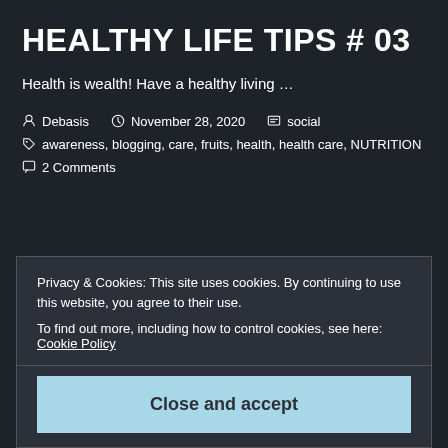HEALTHY LIFE TIPS # 03
Health is wealth! Have a healthy living …
Debasis  November 28, 2020  social
awareness, blogging, care, fruits, health, health care, NUTRITION
2 Comments
Privacy & Cookies: This site uses cookies. By continuing to use this website, you agree to their use.
To find out more, including how to control cookies, see here: Cookie Policy
Close and accept